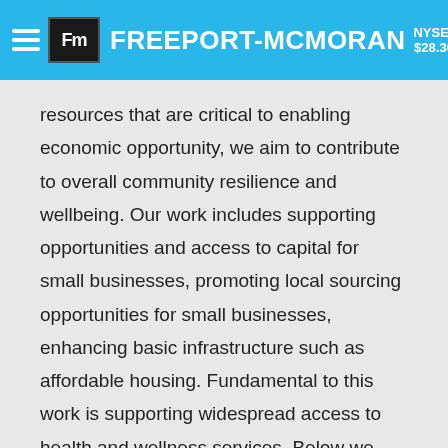NYSE: FCX $28.30 0.21 | Freeport-McMoRan
resources that are critical to enabling economic opportunity, we aim to contribute to overall community resilience and wellbeing. Our work includes supporting opportunities and access to capital for small businesses, promoting local sourcing opportunities for small businesses, enhancing basic infrastructure such as affordable housing. Fundamental to this work is supporting widespread access to health and wellness services. Below we provide some examples of